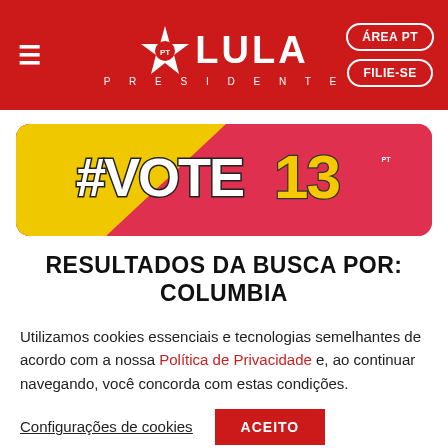[Figure (logo): Lula Presidente PT campaign header with hamburger menu, star PT logo, LULA PRESIDENTE text, and ÁREA PT / FILIE-SE buttons on red background]
[Figure (illustration): #VOTE 13 PT campaign banner with yellow and red background and bold stylized text]
RESULTADOS DA BUSCA POR:
COLUMBIA
Utilizamos cookies essenciais e tecnologias semelhantes de acordo com a nossa Política de Privacidade e, ao continuar navegando, você concorda com estas condições.
Configurações de cookies   ACEITO